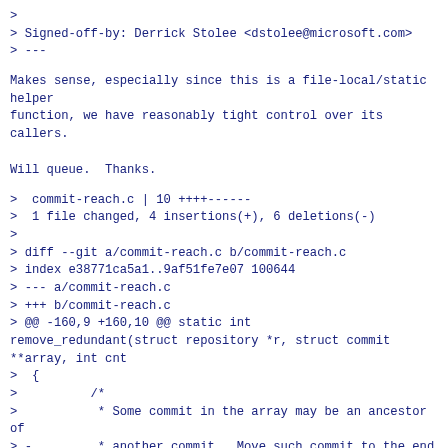>
> Signed-off-by: Derrick Stolee <dstolee@microsoft.com>
> ---
Makes sense, especially since this is a file-local/static helper
function, we have reasonably tight control over its callers.
Will queue.  Thanks.
>  commit-reach.c | 10 ++++------
>  1 file changed, 4 insertions(+), 6 deletions(-)
>
> diff --git a/commit-reach.c b/commit-reach.c
> index e38771ca5a1..9af51fe7e07 100644
> --- a/commit-reach.c
> +++ b/commit-reach.c
> @@ -160,9 +160,10 @@ static int remove_redundant(struct repository *r, struct commit **array, int cnt
>  {
>          /*
>           * Some commit in the array may be an ancestor of
> -         * another commit.  Move such commit to the end of
> -         * the array, and return the number of commits that
> -         * are independent from each other.